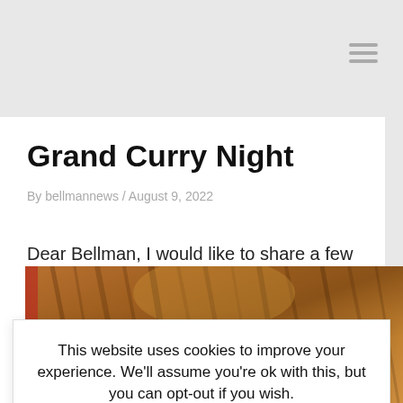Grand Curry Night
By bellmannews / August 9, 2022
Dear Bellman, I would like to share a few thoughts
thank Abdur Hamid and his team that worked so hard to make this event possible.  You could [...]
This website uses cookies to improve your experience. We'll assume you're ok with this, but you can opt-out if you wish.
Accept
[Figure (photo): Close-up photograph of a tabby cat's head with striped brown/orange fur, viewed from above]